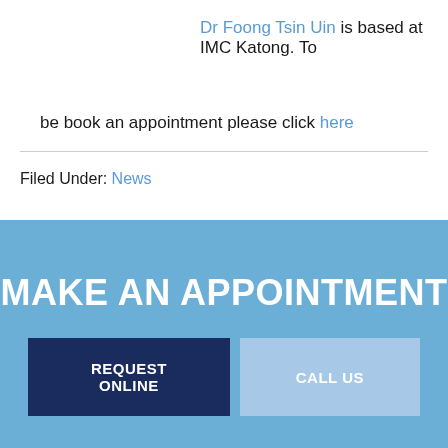Dr Foong Tsin Uin is based at IMC Katong. To be book an appointment please click here
Filed Under: News
MAKE AN APPOINTMENT
REQUEST ONLINE
CALL US